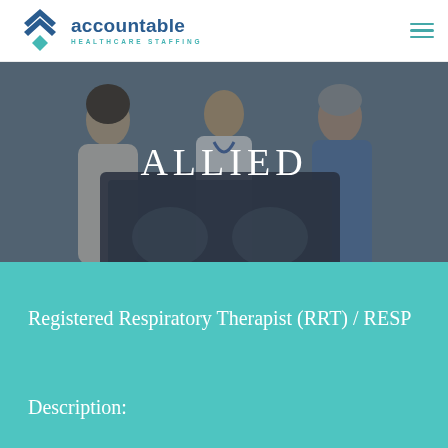[Figure (logo): Accountable Healthcare Staffing logo with chevron/diamond icon and text]
[Figure (photo): Three medical professionals (two in white coats, one in scrubs) examining an X-ray together, with dark overlay and ALLIED text overlay]
ALLIED
Registered Respiratory Therapist (RRT) / RESP
Description: